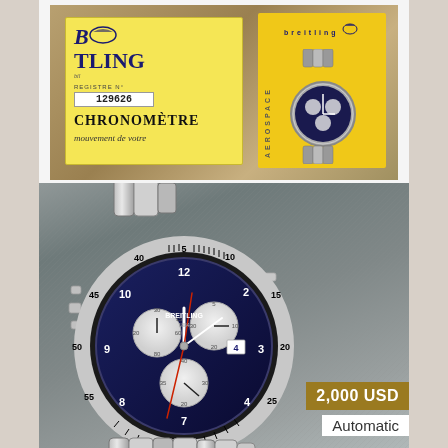[Figure (photo): Breitling chronometre certificate card (yellow background, with REGISTRE N° 129626, CHRONOMETRE, mouvement de votre) and Breitling Aerospace yellow booklet with watch photo, placed on a brown surface]
[Figure (photo): Large photo of a Breitling stainless steel chronograph watch with blue dial, white subdials, tachymeter bezel, on a grey fabric background]
2,000 USD
Automatic